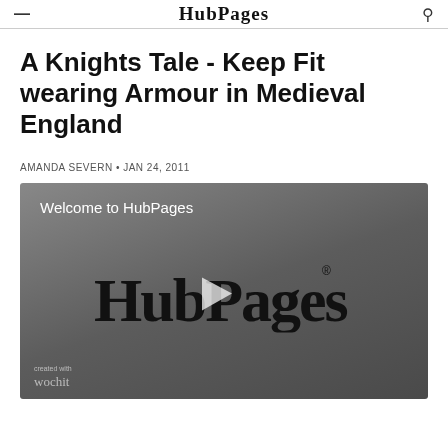HubPages
A Knights Tale - Keep Fit wearing Armour in Medieval England
AMANDA SEVERN • JAN 24, 2011
[Figure (screenshot): HubPages video thumbnail showing 'Welcome to HubPages' text and HubPages logo with play button on dark grey background, with wochit branding at bottom left]